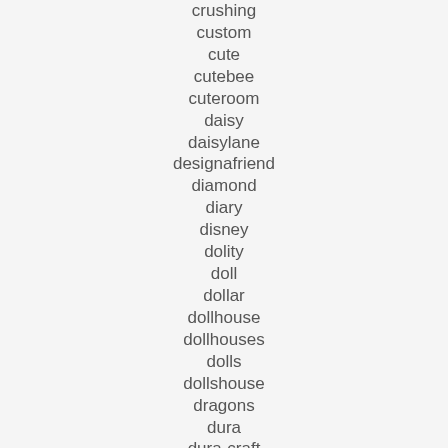crushing
custom
cute
cutebee
cuteroom
daisy
daisylane
designafriend
diamond
diary
disney
dolity
doll
dollar
dollhouse
dollhouses
dolls
dollshouse
dragons
dura
dura-craft